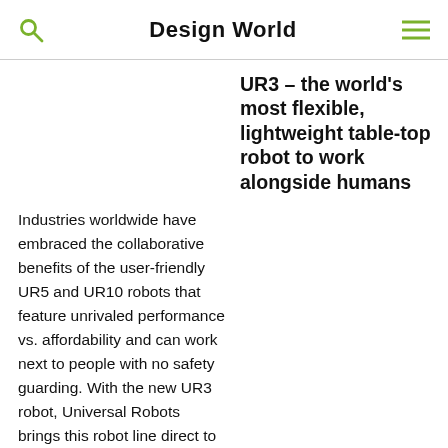Design World
UR3 – the world's most flexible, lightweight table-top robot to work alongside humans
Industries worldwide have embraced the collaborative benefits of the user-friendly UR5 and UR10 robots that feature unrivaled performance vs. affordability and can work next to people with no safety guarding. With the new UR3 robot, Universal Robots brings this robot line direct to